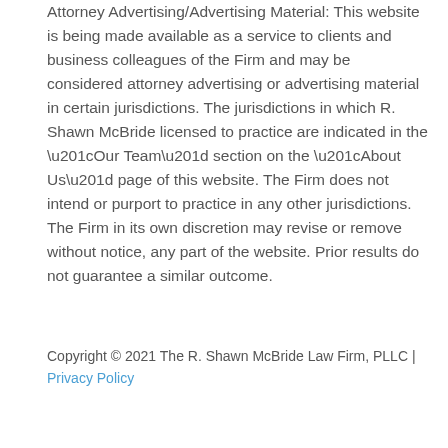Attorney Advertising/Advertising Material: This website is being made available as a service to clients and business colleagues of the Firm and may be considered attorney advertising or advertising material in certain jurisdictions. The jurisdictions in which R. Shawn McBride licensed to practice are indicated in the “Our Team” section on the “About Us” page of this website. The Firm does not intend or purport to practice in any other jurisdictions. The Firm in its own discretion may revise or remove without notice, any part of the website. Prior results do not guarantee a similar outcome.
Copyright © 2021 The R. Shawn McBride Law Firm, PLLC | Privacy Policy